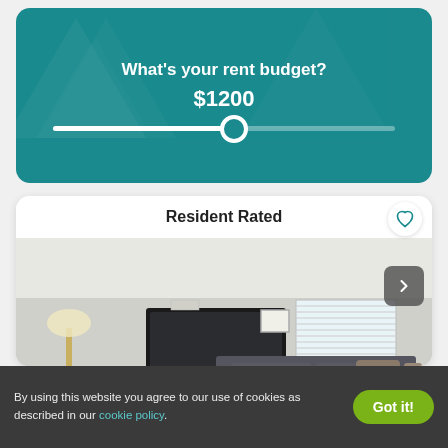What's your rent budget?
$1200
[Figure (screenshot): Resident Rated apartment listing card showing a living room interior photo with sofa, TV, and coffee table]
By using this website you agree to our use of cookies as described in our cookie policy.
Got it!